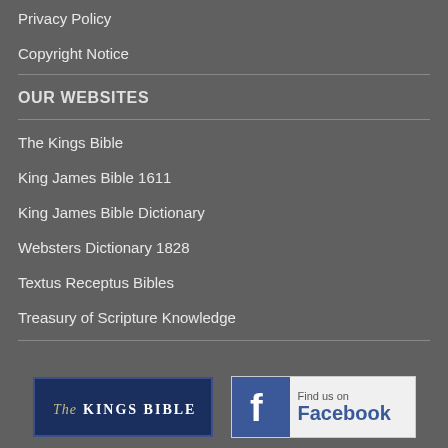Privacy Policy
Copyright Notice
OUR WEBSITES
The Kings Bible
King James Bible 1611
King James Bible Dictionary
Websters Dictionary 1828
Textus Receptus Bibles
Treasury of Scripture Knowledge
[Figure (logo): The Kings Bible logo — dark blue rectangle with serif script text]
[Figure (logo): Find us on Facebook logo badge]